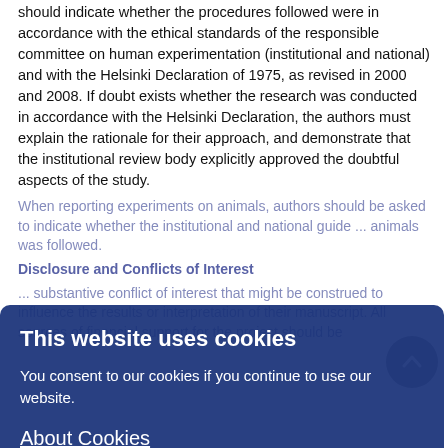should indicate whether the procedures followed were in accordance with the ethical standards of the responsible committee on human experimentation (institutional and national) and with the Helsinki Declaration of 1975, as revised in 2000 and 2008. If doubt exists whether the research was conducted in accordance with the Helsinki Declaration, the authors must explain the rationale for their approach, and demonstrate that the institutional review body explicitly approved the doubtful aspects of the study.
When reporting experiments on animals, authors should be asked to indicate whether the institutional and national guide ... animals was followed.
Disclosure and Conflicts of Interest
... substantive conflict of interest that might be construed to influence the results or interpretation of their manuscript. All sources of financial support for the project should be
Examples of potential conflict of interest which should be disclosed include employment, consultancies, stock ownership, honoraria, paid expert testimony, patent applications/registrations, and grants or other funding. Potential conflicts of interest should be disclosed at the earliest stage possible.
Fundamental errors in published works
When an author discovers a significant error or inaccuracy in his/her own published work, it is the authors obligation to
This website uses cookies
You consent to our cookies if you continue to use our website.
About Cookies
OK